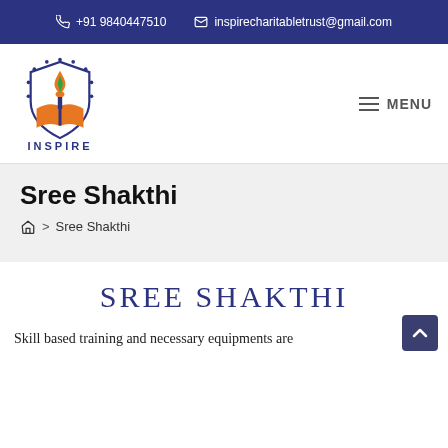+91 9840447510   inspirecharitabletrust@gmail.com
[Figure (logo): Inspire Charitable Trust logo with shield shape, open book with orange pages, torch with flame, dots around border, and text INSPIRE below]
MENU
Sree Shakthi
Home > Sree Shakthi
SREE SHAKTHI
Skill based training and necessary equipments are